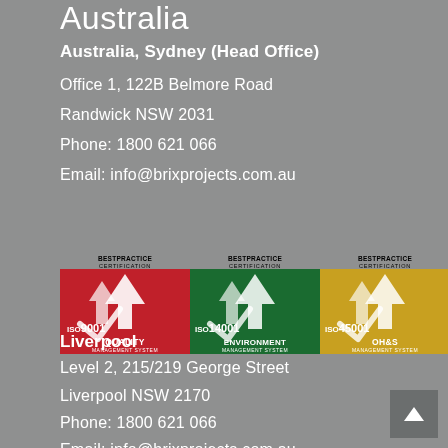Australia
Australia, Sydney (Head Office)
Office 1, 122B Belmore Road
Randwick NSW 2031
Phone: 1800 621 066
Email: info@brixprojects.com.au
[Figure (logo): Best Practice Certification logos for ISO 9001 Quality Management System (red), ISO 14001 Environment Management System (green), and ISO 45001 OH&S Management System (yellow/gold)]
Liverpool
Level 2, 215/219 George Street
Liverpool NSW 2170
Phone: 1800 621 066
Email: info@brixprojects.com.au